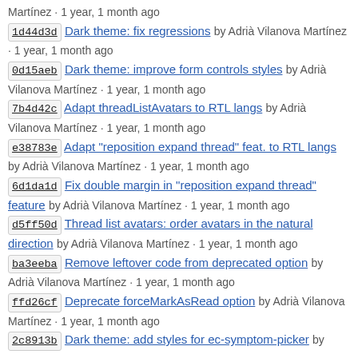Martínez · 1 year, 1 month ago
1d44d3d Dark theme: fix regressions by Adrià Vilanova Martínez · 1 year, 1 month ago
0d15aeb Dark theme: improve form controls styles by Adrià Vilanova Martínez · 1 year, 1 month ago
7b4d42c Adapt threadListAvatars to RTL langs by Adrià Vilanova Martínez · 1 year, 1 month ago
e38783e Adapt "reposition expand thread" feat. to RTL langs by Adrià Vilanova Martínez · 1 year, 1 month ago
6d1da1d Fix double margin in "reposition expand thread" feature by Adrià Vilanova Martínez · 1 year, 1 month ago
d5ff50d Thread list avatars: order avatars in the natural direction by Adrià Vilanova Martínez · 1 year, 1 month ago
ba3eeba Remove leftover code from deprecated option by Adrià Vilanova Martínez · 1 year, 1 month ago
ffd26cf Deprecate forceMarkAsRead option by Adrià Vilanova Martínez · 1 year, 1 month ago
2c8913b Dark theme: add styles for ec-symptom-picker by